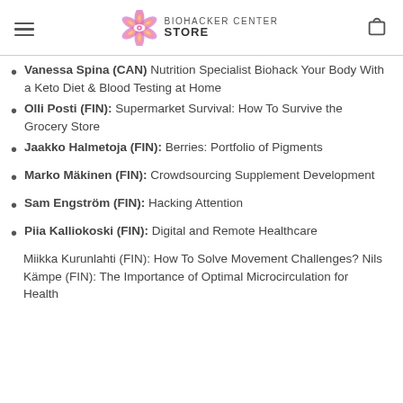BIOHACKER CENTER STORE
Vanessa Spina (CAN) Nutrition Specialist Biohack Your Body With a Keto Diet & Blood Testing at Home
Olli Posti (FIN): Supermarket Survival: How To Survive the Grocery Store
Jaakko Halmetoja (FIN): Berries: Portfolio of Pigments
Marko Mäkinen (FIN): Crowdsourcing Supplement Development
Sam Engström (FIN): Hacking Attention
Piia Kalliokoski (FIN): Digital and Remote Healthcare
Miikka Kurunlahti (FIN): How To Solve Movement Challenges? Nils Kämpe (FIN): The Importance of Optimal Microcirculation for Health